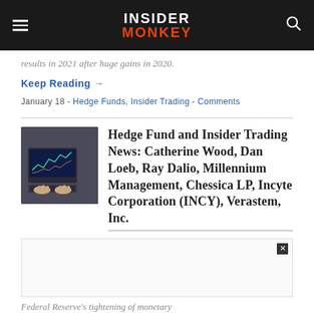Insider Monkey
results in 2021 after huge gains in 2020.
Keep Reading →
January 18 - Hedge Funds, Insider Trading - Comments
Hedge Fund and Insider Trading News: Catherine Wood, Dan Loeb, Ray Dalio, Millennium Management, Chessica LP, Incyte Corporation (INCY), Verastem, Inc.
[Figure (photo): Thumbnail image showing a person working on a laptop with financial charts on screen]
Federal Reserve's tightening of monetary